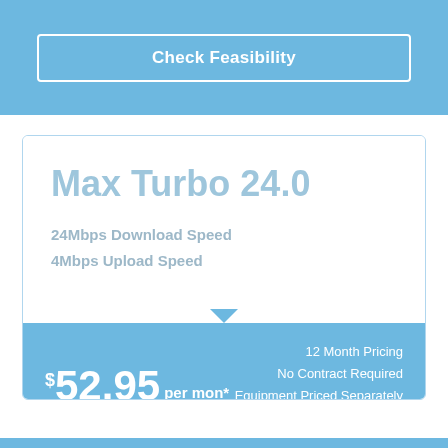Check Feasibility
Max Turbo 24.0
24Mbps Download Speed
4Mbps Upload Speed
$52.95 per mon*
12 Month Pricing
No Contract Required
Equipment Priced Separately
Check Feasibility